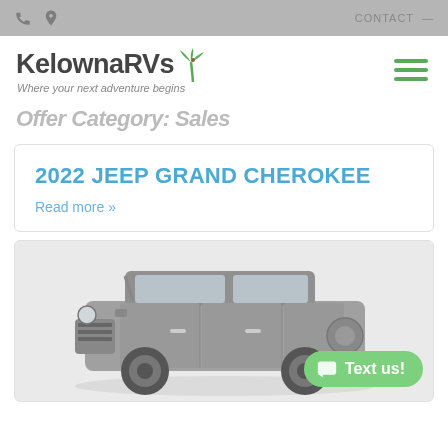KelownaRVs – Where your next adventure begins
Offer Category: Sales
2022 JEEP GRAND CHEROKEE
Read more »
[Figure (photo): Photo of a gray 2022 Jeep Wrangler (4-door) SUV on a white/grey background]